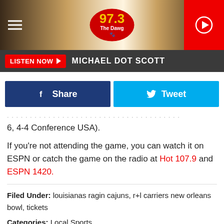[Figure (screenshot): 97.3 The Dawg radio station logo in a red oval with yellow text]
LISTEN NOW ▶  MICHAEL DOT SCOTT
[Figure (screenshot): Facebook Share and Twitter Tweet social sharing buttons]
6, 4-4 Conference USA).
If you're not attending the game, you can watch it on ESPN or catch the game on the radio at Hot 107.9 and ESPN 1420.
Filed Under: louisianas ragin cajuns, r+l carriers new orleans bowl, tickets
Categories: Local Sports
Comments
LEAVE A COMMENT